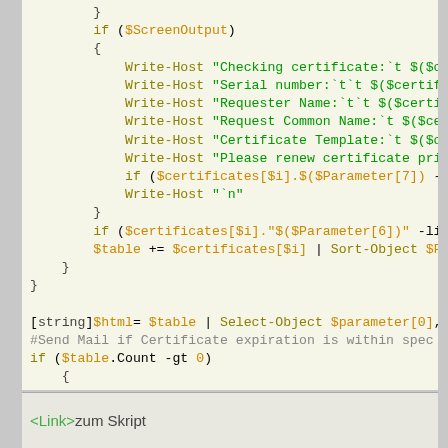[Figure (screenshot): PowerShell code snippet showing certificate checking script with Write-Host calls, if conditions checking $certificates[$i], $table operations, Send-MailMessage command, with syntax highlighting: green for Write-Host strings, orange for variables, dark yellow for keywords]
<Link> zum Skript